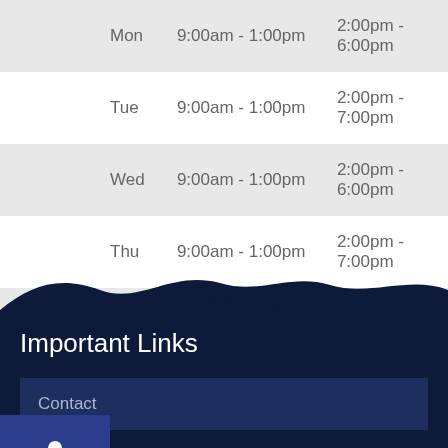| Day | Morning | Afternoon |
| --- | --- | --- |
| Mon | 9:00am - 1:00pm | 2:00pm - 6:00pm |
| Tue | 9:00am - 1:00pm | 2:00pm - 7:00pm |
| Wed | 9:00am - 1:00pm | 2:00pm - 6:00pm |
| Thu | 9:00am - 1:00pm | 2:00pm - 7:00pm |
| Fri | 9:00am - 12:00pm | Closed |
[Figure (illustration): Accessibility wheelchair icon on dark blue background]
Important Links
Contact